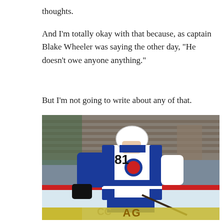thoughts.
And I’m totally okay with that because, as captain Blake Wheeler was saying the other day, “He doesn’t owe anyone anything.”
But I’m not going to write about any of that.
[Figure (photo): Hockey player wearing Winnipeg Jets white jersey number 81, on the ice during a game, with arena seating visible in the background and red boards along the rink.]